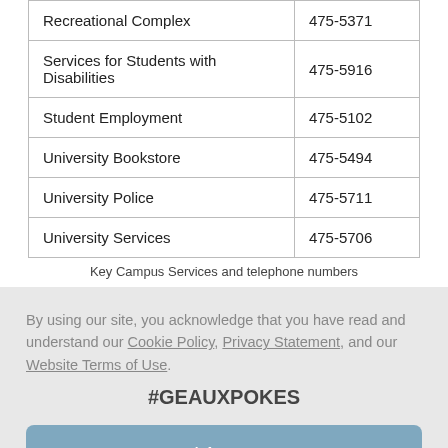|  |  |
| --- | --- |
| Recreational Complex | 475-5371 |
| Services for Students with Disabilities | 475-5916 |
| Student Employment | 475-5102 |
| University Bookstore | 475-5494 |
| University Police | 475-5711 |
| University Services | 475-5706 |
Key Campus Services and telephone numbers
By using our site, you acknowledge that you have read and understand our Cookie Policy, Privacy Statement, and our Website Terms of Use.
#GEAUXPOKES
I Agree